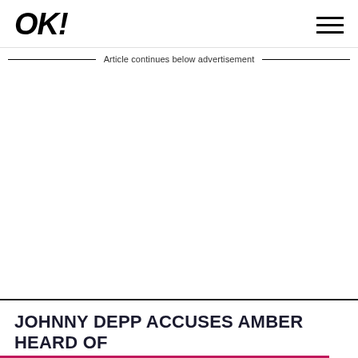OK!
Article continues below advertisement
JOHNNY DEPP ACCUSES AMBER HEARD OF